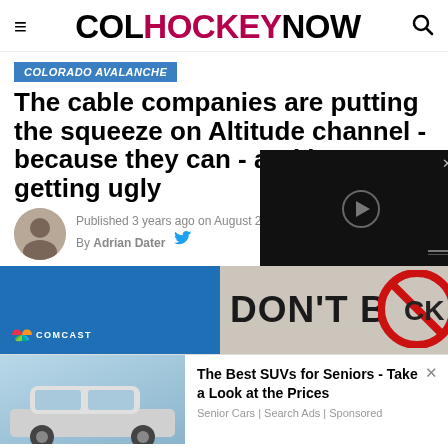COLHOCKEYNOW
COLORADO AVALANCHE
The cable companies are putting the squeeze on Altitude channel - because they can - and it's getting ugly
Published 3 years ago on August 2
By Adrian Dater
[Figure (photo): Black video player overlay with play button circle and X close button]
[Figure (photo): Comcast blue background on left, DON'T BLOCK text with red prohibition circle symbol on right]
[Figure (photo): Advertisement: car (SUV) image on left with text 'The Best SUVs for Seniors - Take a Look at the Prices' and 'Senior Cars | Search Ads | Sponsored']